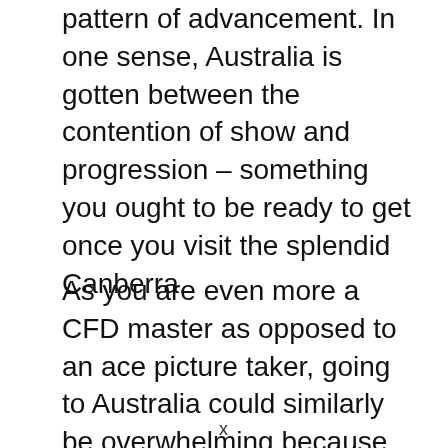pattern of advancement. In one sense, Australia is gotten between the contention of show and progression – something you ought to be ready to get once you visit the splendid Canberra.
As you are even more a CFD master as opposed to an ace picture taker, going to Australia could similarly be overwhelming because the capital is stacked up with expected honour winning subjects, especially the people, the achievements, and in this
x